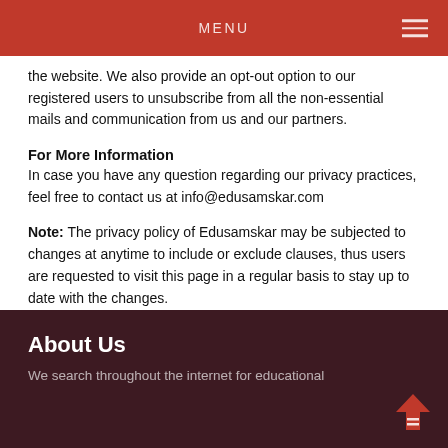MENU
the website. We also provide an opt-out option to our registered users to unsubscribe from all the non-essential mails and communication from us and our partners.
For More Information
In case you have any question regarding our privacy practices, feel free to contact us at info@edusamskar.com
Note: The privacy policy of Edusamskar may be subjected to changes at anytime to include or exclude clauses, thus users are requested to visit this page in a regular basis to stay up to date with the changes.
About Us
We search throughout the internet for educational